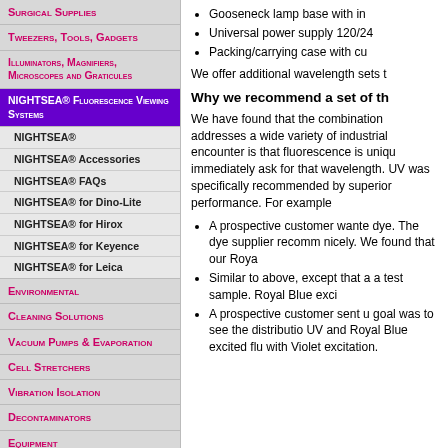Surgical Supplies
Tweezers, Tools, Gadgets
Illuminators, Magnifiers, Microscopes and Graticules
NIGHTSEA® Fluorescence Viewing Systems
NIGHTSEA®
NIGHTSEA® Accessories
NIGHTSEA® FAQs
NIGHTSEA® for Dino-Lite
NIGHTSEA® for Hirox
NIGHTSEA® for Keyence
NIGHTSEA® for Leica
Environmental
Cleaning Solutions
Vacuum Pumps & Evaporation
Cell Stretchers
Vibration Isolation
Decontaminators
Equipment
Safety
Labels, Tapes, Dispensers
Starter EM Kits
Gooseneck lamp base with in
Universal power supply 120/24
Packing/carrying case with cu
We offer additional wavelength sets t
Why we recommend a set of th
We have found that the combination addresses a wide variety of industrial encounter is that fluorescence is uniqu immediately ask for that wavelength. UV was specifically recommended by superior performance. For example
A prospective customer wante dye. The dye supplier recomm nicely. We found that our Roya
Similar to above, except that a a test sample. Royal Blue exci
A prospective customer sent u goal was to see the distributio UV and Royal Blue excited flu with Violet excitation.